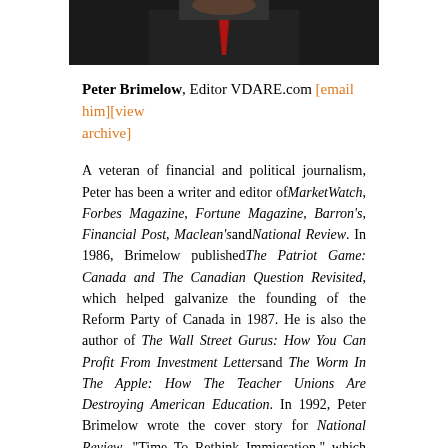[Figure (photo): Partial photo of a man in a dark suit with a red tie, cropped to show neck and lower face area, dark background]
Peter Brimelow, Editor VDARE.com [email him][view archive]
A veteran of financial and political journalism, Peter has been a writer and editor of MarketWatch, Forbes Magazine, Fortune Magazine, Barron's, Financial Post, Maclean's and National Review. In 1986, Brimelow published The Patriot Game: Canada and The Canadian Question Revisited, which helped galvanize the founding of the Reform Party of Canada in 1987. He is also the author of The Wall Street Gurus: How You Can Profit From Investment Letters and The Worm In The Apple: How The Teacher Unions Are Destroying American Education. In 1992, Peter Brimelow wrote the cover story for National Review, "Time To Rethink Immigration," which grew into the bestselling book Alien Nation: Common Sense